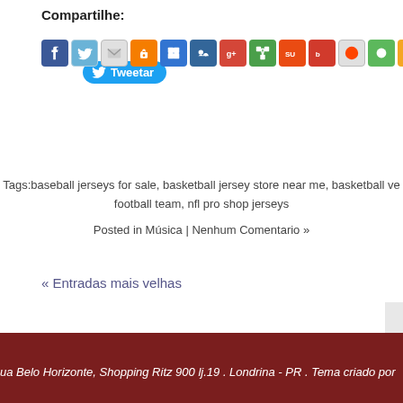Compartilhe:
[Figure (screenshot): Twitter Tweet button (blue rounded rectangle with bird icon and 'Tweetar' text) and a row of social media sharing icons (Facebook, Twitter, email, Blogger, Delicious, MySpace, Google+, ShareThis, StumbleUpon, Bebo, Reddit, FriendFeed, RSS and others)]
Tags:baseball jerseys for sale, basketball jersey store near me, basketball ve football team, nfl pro shop jerseys
Posted in Música | Nenhum Comentario »
« Entradas mais velhas
ua Belo Horizonte, Shopping Ritz 900 lj.19 . Londrina - PR . Tema criado por